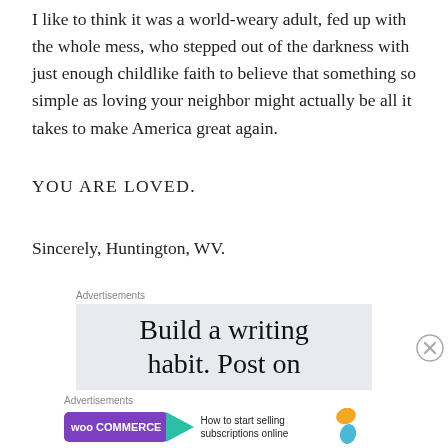I like to think it was a world-weary adult, fed up with the whole mess, who stepped out of the darkness with just enough childlike faith to believe that something so simple as loving your neighbor might actually be all it takes to make America great again.
YOU ARE LOVED.
Sincerely, Huntington, WV.
Advertisements
[Figure (other): Advertisement banner: 'Build a writing habit. Post on' in large serif font on light blue/gray background]
Advertisements
[Figure (other): WooCommerce advertisement: 'How to start selling subscriptions online' with purple WooCommerce logo and teal arrow, orange and blue leaf decorations]